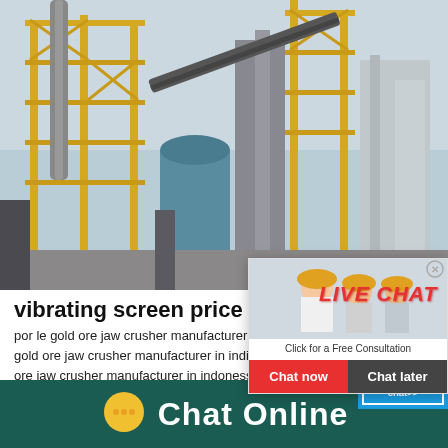[Figure (photo): Industrial plant/factory with yellow crane structures, conveyor belts, and storage silos against a grey sky]
[Figure (photo): Live chat popup overlay showing workers in yellow hard hats with 'LIVE CHAT' text in red italics, subtitle 'Click for a Free Consultation', and buttons 'Chat now' (red) and 'Chat later' (dark grey)]
[Figure (photo): Blue right panel showing 'hour online' text and a cone crusher machine image with 'Click me to chat>>' button]
vibrating screen price
por le gold ore jaw crusher manufacturer i...
gold ore jaw crusher manufacturer in india...
ore jaw crusher manufacturer in indonessi...
Cone Crusher Manufacturer Jobserarich...
[Figure (logo): Chat Online footer bar with speech bubble icon and white 'Chat Online' text on dark teal background]